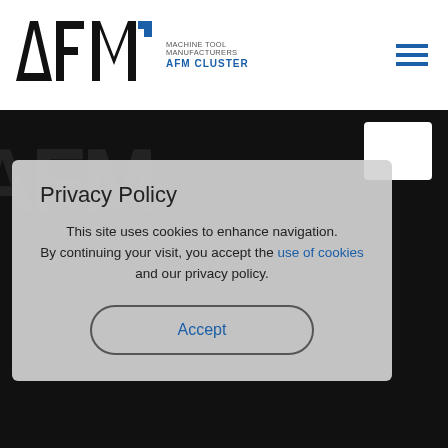AFM CLUSTER - Machine Tool Manufacturers
[Figure (screenshot): Privacy policy cookie consent popup overlay on AFM Cluster website dark background with watermark logo]
SAN SEBASTIÁN
Gipuzkoa Science and Technology Park
Paseo Mikeletegi 59,